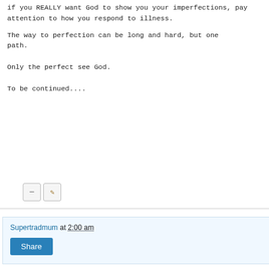if you REALLY want God to show you your imperfections, pay attention to how you respond to illness.
The way to perfection can be long and hard, but one must stay on the path.
Only the perfect see God.
To be continued....
Supertradmum at 2:00 am
Share